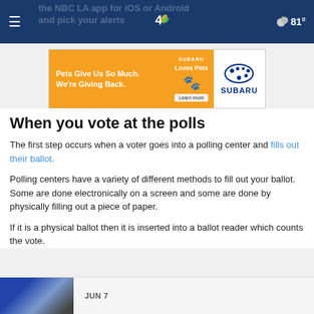NBC LA — the NBC LA app for iOS or Android and pick your alerts — 81°
[Figure (other): Subaru advertisement: Pets Give Us So Much. We're Giving Back. Subaru Loves Pets. Learn more.]
When you vote at the polls
The first step occurs when a voter goes into a polling center and fills out their ballot.
Polling centers have a variety of different methods to fill out your ballot. Some are done electronically on a screen and some are done by physically filling out a piece of paper.
If it is a physical ballot then it is inserted into a ballot reader which counts the vote.
[Figure (photo): Thumbnail image with blue and orange tones, JUN 7 date label]